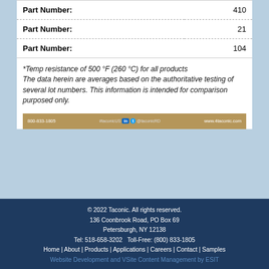| Part Number: | 410 |
| Part Number: | 21 |
| Part Number: | 104 |
*Temp resistance of 500 °F (260 °C) for all products The data herein are averages based on the authoritative testing of several lot numbers. This information is intended for comparison purposed only.
[Figure (infographic): Company banner showing phone number 800-833-1805, social media icons for LinkedIn and Twitter, contact info, and website www.4taconic.com]
© 2022 Taconic. All rights reserved. 136 Coonbrook Road, PO Box 69 Petersburgh, NY 12138 Tel: 518-658-3202   Toll-Free: (800) 833-1805 Home | About | Products | Applications | Careers | Contact | Samples Website Development and VSite Content Management by ESIT